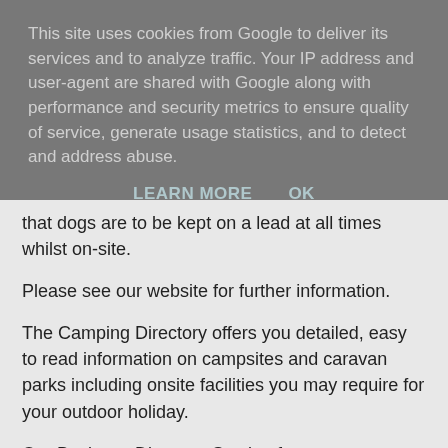This site uses cookies from Google to deliver its services and to analyze traffic. Your IP address and user-agent are shared with Google along with performance and security metrics to ensure quality of service, generate usage statistics, and to detect and address abuse.
LEARN MORE    OK
that dogs are to be kept on a lead at all times whilst on-site.
Please see our website for further information.
The Camping Directory offers you detailed, easy to read information on campsites and caravan parks including onsite facilities you may require for your outdoor holiday.
Our Business Directory Section features companies selling everything you need for your camping & caravanning holiday including insurance, tents and other camping equipment, safety gear, satellite and other electronics and also where to purchase your next touring caravan or motorhome.